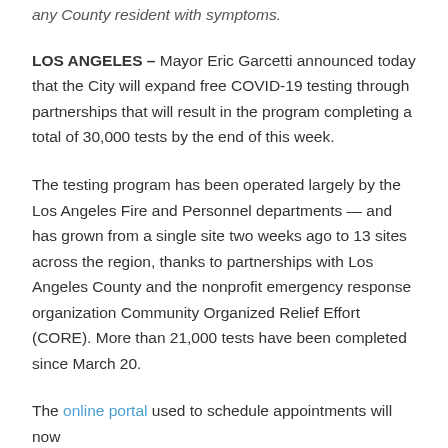any County resident with symptoms.
LOS ANGELES – Mayor Eric Garcetti announced today that the City will expand free COVID-19 testing through partnerships that will result in the program completing a total of 30,000 tests by the end of this week.
The testing program has been operated largely by the Los Angeles Fire and Personnel departments — and has grown from a single site two weeks ago to 13 sites across the region, thanks to partnerships with Los Angeles County and the nonprofit emergency response organization Community Organized Relief Effort (CORE). More than 21,000 tests have been completed since March 20.
The online portal used to schedule appointments will now